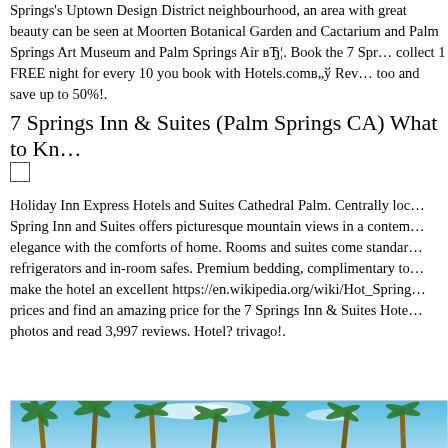Springs's Uptown Design District neighbourhood, an area with great beauty can be seen at Moorten Botanical Garden and Cactarium and Palm Springs Art Museum and Palm Springs Air вЂ¦. Book the 7 Spr… collect 1 FREE night for every 10 you book with Hotels.comв„ў Rev… too and save up to 50%!.
7 Springs Inn & Suites (Palm Springs CA) What to Kn…
[Figure (other): Checkbox (small empty square checkbox UI element)]
Holiday Inn Express Hotels and Suites Cathedral Palm. Centrally loc… Spring Inn and Suites offers picturesque mountain views in a contem… elegance with the comforts of home. Rooms and suites come standar… refrigerators and in-room safes. Premium bedding, complimentary to… make the hotel an excellent https://en.wikipedia.org/wiki/Hot_Spring… prices and find an amazing price for the 7 Springs Inn & Suites Hote… photos and read 3,997 reviews. Hotel? trivago!.
[Figure (photo): Outdoor photo showing palm trees against a blue sky, taken from below looking up.]